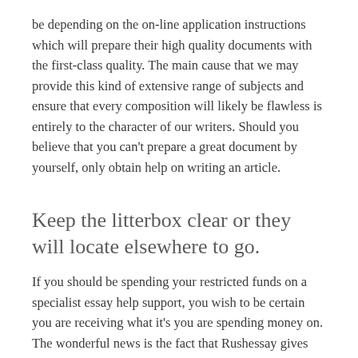be depending on the on-line application instructions which will prepare their high quality documents with the first-class quality. The main cause that we may provide this kind of extensive range of subjects and ensure that every composition will likely be flawless is entirely to the character of our writers. Should you believe that you can't prepare a great document by yourself, only obtain help on writing an article.
Keep the litterbox clear or they will locate elsewhere to go.
If you should be spending your restricted funds on a specialist essay help support, you wish to be certain you are receiving what it's you are spending money on. The wonderful news is the fact that Rushessay gives reputable essay help which you could not locate else